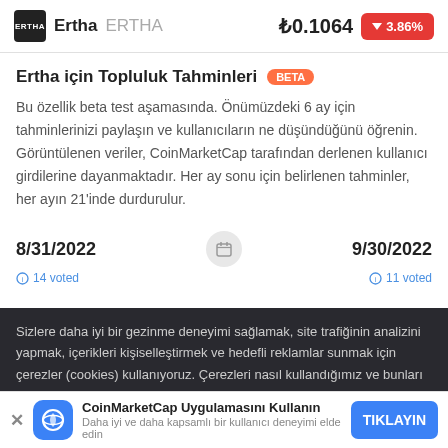Ertha ERTHA  ₺0.1064  ▼3.86%
Ertha için Topluluk Tahminleri BETA
Bu özellik beta test aşamasında. Önümüzdeki 6 ay için tahminlerinizi paylaşın ve kullanıcıların ne düşündüğünü öğrenin. Görüntülenen veriler, CoinMarketCap tarafından derlenen kullanıcı girdilerine dayanmaktadır. Her ay sonu için belirlenen tahminler, her ayın 21'inde durdurulur.
8/31/2022   9/30/2022
14 voted   11 voted
Sizlere daha iyi bir gezinme deneyimi sağlamak, site trafiğinin analizini yapmak, içerikleri kişiselleştirmek ve hedefli reklamlar sunmak için çerezler (cookies) kullanıyoruz. Çerezleri nasıl kullandığımız ve bunları nasıl kontrol edebileceğiniz hakkında
Place your estimate   Place your esti
At least 1 to see how other estimate   At least 1 to see ho
CoinMarketCap Uygulamasını Kullanın
Daha iyi ve daha kapsamlı bir kullanıcı deneyimi elde edin
TIKLAYIN